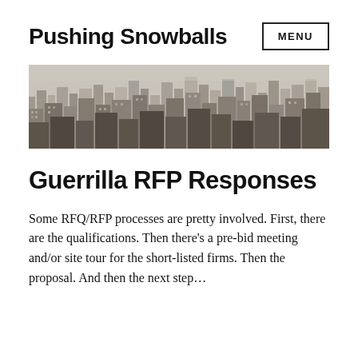Pushing Snowballs
[Figure (other): MENU button with border]
[Figure (photo): Aerial cityscape photo showing dense urban buildings]
Guerrilla RFP Responses
Some RFQ/RFP processes are pretty involved. First, there are the qualifications. Then there’s a pre-bid meeting and/or site tour for the short-listed firms. Then the proposal. And then the next step...